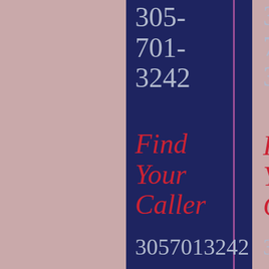305-701-3242
Find Your Caller
3057013242
305-701-3208
Caller Finder
3057013208
305-701-3280